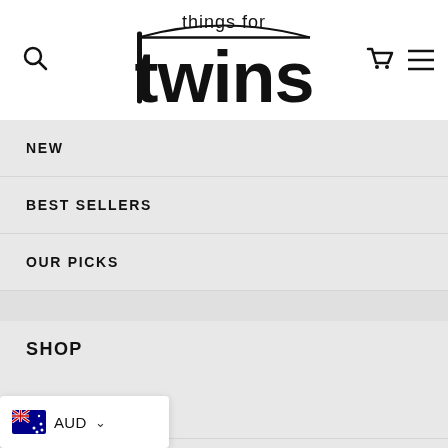[Figure (logo): Things for Twins logo — stylized text with 'things for' above and large 'twins' below, with a horizontal line through the t]
Navigation header with search icon, logo, cart icon, and hamburger menu icon
NEW
BEST SELLERS
OUR PICKS
SHOP
SHOP PILLOWS
SHOP CARRIERS
SHOP POOL FLOAT
SHOP CLOTHING
[Figure (infographic): Australian flag currency selector widget showing AUD with dropdown chevron]